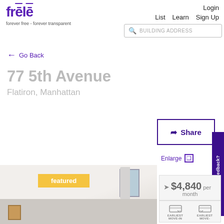[Figure (logo): Frele logo with purple text and tagline 'forever free - forever transparent']
Login   List   Learn   Sign Up   BUILDING ADDRESS
← Go Back
77 5th Avenue
Flatiron, Manhattan
Enlarge
[Figure (photo): Interior room photo with white walls, curtains, window, and framed artwork. Featured badge in yellow.]
➤ Share
Save
Have Feedback?
$4,840 per month
EARLIEST MOVE-IN   EARLIEST MOVE-